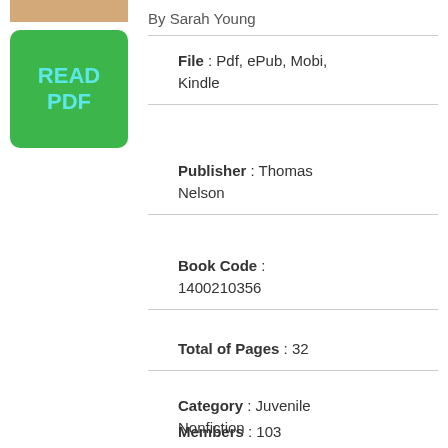[Figure (photo): Partial book cover thumbnail at top left]
[Figure (other): Green rounded button with text READ PDF in teal letters]
By Sarah Young
File : Pdf, ePub, Mobi, Kindle
Publisher : Thomas Nelson
Book Code : 1400210356
Total of Pages : 32
Category : Juvenile Nonfiction
Members : 103